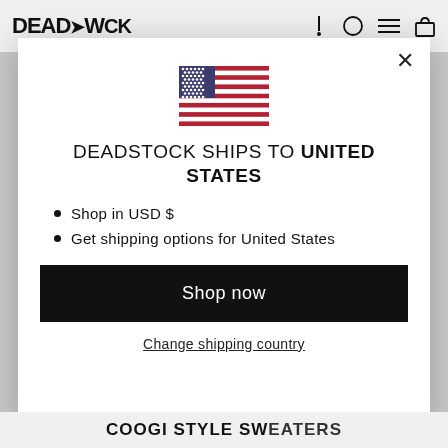DEADSTOCK (logo) — navigation icons
[Figure (illustration): US flag SVG illustration centered in modal]
DEADSTOCK SHIPS TO UNITED STATES
Shop in USD $
Get shipping options for United States
Shop now
Change shipping country
COOGI STYLE SWEATERS